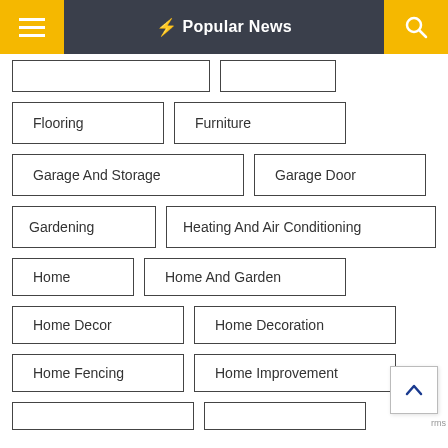Popular News
Flooring
Furniture
Garage And Storage
Garage Door
Gardening
Heating And Air Conditioning
Home
Home And Garden
Home Decor
Home Decoration
Home Fencing
Home Improvement